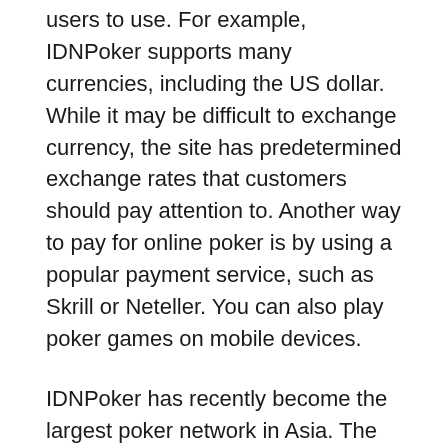users to use. For example, IDNPoker supports many currencies, including the US dollar. While it may be difficult to exchange currency, the site has predetermined exchange rates that customers should pay attention to. Another way to pay for online poker is by using a popular payment service, such as Skrill or Neteller. You can also play poker games on mobile devices.
IDNPoker has recently become the largest poker network in Asia. The site is the third-largest network worldwide in terms of traffic, with nearly 20,000 daily connections. IDNPoker is popular in Asia, but has been gaining steam in the United States, as well. The IDNPoker network also holds a BMM RNG certificate. The popularity of the site